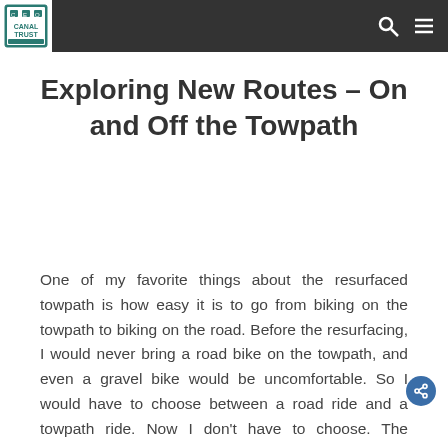Canal Trust [logo] — navigation bar with search and menu icons
Exploring New Routes – On and Off the Towpath
One of my favorite things about the resurfaced towpath is how easy it is to go from biking on the towpath to biking on the road. Before the resurfacing, I would never bring a road bike on the towpath, and even a gravel bike would be uncomfortable. So I would have to choose between a road ride and a towpath ride. Now I don't have to choose. The resurfaced towpath